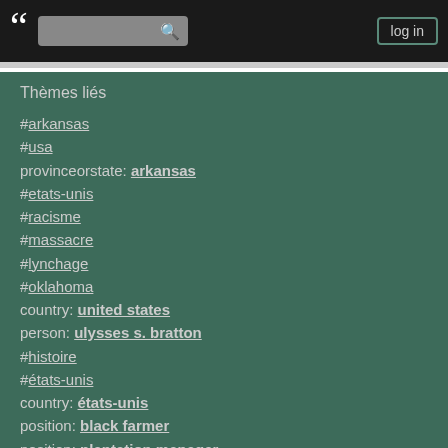« [search] log in
Thèmes liés
#arkansas
#usa
provinceorstate: arkansas
#etats-unis
#racisme
#massacre
#lynchage
#oklahoma
country: united states
person: ulysses s. bratton
#histoire
#états-unis
country: états-unis
position: black farmer
position: plantation manager
continent: america
position: attorney
#donald_trump
#tulsa
#texas
#louisiane